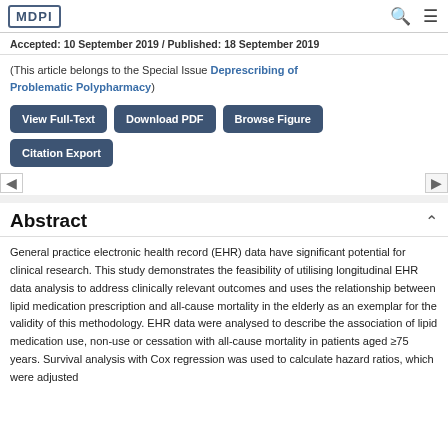MDPI
Accepted: 10 September 2019 / Published: 18 September 2019
(This article belongs to the Special Issue Deprescribing of Problematic Polypharmacy)
View Full-Text | Download PDF | Browse Figure | Citation Export
Abstract
General practice electronic health record (EHR) data have significant potential for clinical research. This study demonstrates the feasibility of utilising longitudinal EHR data analysis to address clinically relevant outcomes and uses the relationship between lipid medication prescription and all-cause mortality in the elderly as an exemplar for the validity of this methodology. EHR data were analysed to describe the association of lipid medication use, non-use or cessation with all-cause mortality in patients aged ≥75 years. Survival analysis with Cox regression was used to calculate hazard ratios, which were adjusted